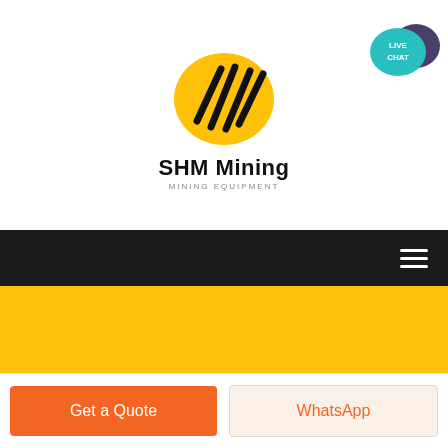[Figure (logo): SHM Mining logo with yellow oval and black diagonal lines]
SHM Mining MINING EQUIPMENT
[Figure (illustration): Live Chat bubble icon in teal with purple speech bubble]
db800 mobile price dec
Get a Quote
WhatsApp